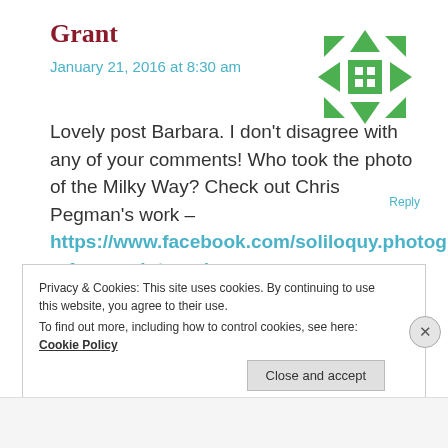Grant
January 21, 2016 at 8:30 am
[Figure (illustration): Green geometric quilt-pattern avatar icon in top right corner]
Lovely post Barbara. I don't disagree with any of your comments! Who took the photo of the Milky Way? Check out Chris Pegman's work – https://www.facebook.com/soliloquy.photography/photos_stream?ref=page_internal
Reply
Privacy & Cookies: This site uses cookies. By continuing to use this website, you agree to their use.
To find out more, including how to control cookies, see here: Cookie Policy
Close and accept